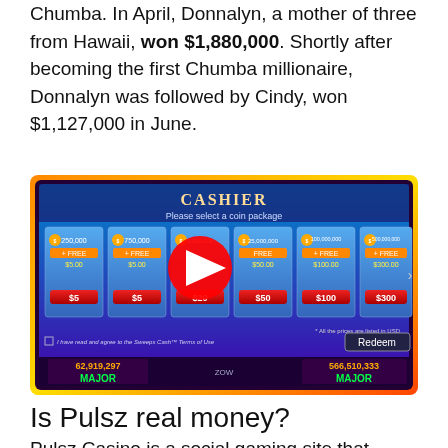Chumba. In April, Donnalyn, a mother of three from Hawaii, won $1,880,000. Shortly after becoming the first Chumba millionaire, Donnalyn was followed by Cindy, won $1,127,000 in June.
[Figure (screenshot): Screenshot of Chumba Casino Cashier screen showing coin packages: 250,000 ($5), 750,000 ($5), 3,000,000 ($20), 25,000,000 ($50), 100,000,000 ($100), 500,000,000 ($300), with a YouTube play button overlay and MAJOR jackpot amounts visible at the bottom.]
Is Pulsz real money?
Pulsz Casino is a social gaming site that